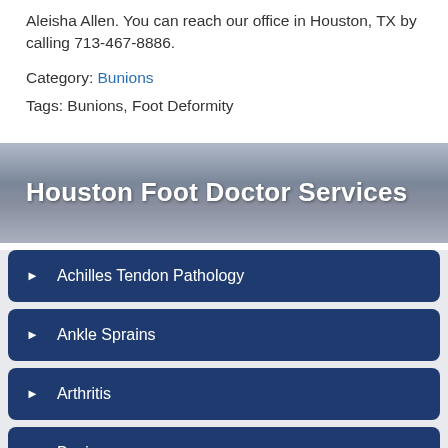Aleisha Allen. You can reach our office in Houston, TX by calling 713-467-8886.
Category: Bunions
Tags: Bunions, Foot Deformity
Houston Foot Doctor Services
Achilles Tendon Pathology
Ankle Sprains
Arthritis
Bunions
Broken Ankle